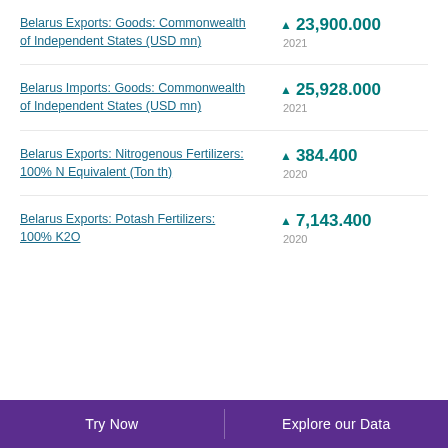Belarus Exports: Goods: Commonwealth of Independent States (USD mn) ▲ 23,900.000 2021
Belarus Imports: Goods: Commonwealth of Independent States (USD mn) ▲ 25,928.000 2021
Belarus Exports: Nitrogenous Fertilizers: 100% N Equivalent (Ton th) ▲ 384.400 2020
Belarus Exports: Potash Fertilizers: 100% K2O ▲ 7,143.400 2020
Try Now  Explore our Data